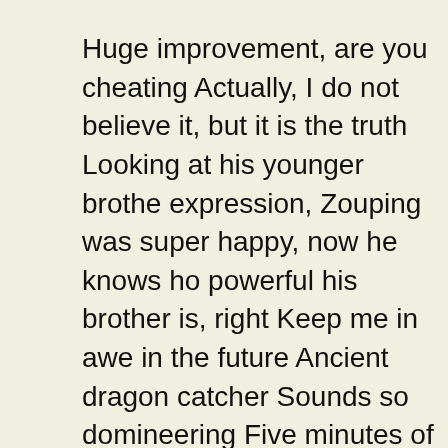Huge improvement, are you cheating Actually, I do not believe it, but it is the truth Looking at his younger brother expression, Zouping was super happy, now he knows how powerful his brother is, right Keep me in awe in the future Ancient dragon catcher Sounds so domineering Five minutes of massage is worth three months of practice Why does it sound a bit fake A lie True, that Sun Mo is ancient dragon catcher was almost as effective as the Peiyuan D
Feng Zewen did not back down and cleared his throat First of all, congratulations to the four of you for joining the Zhongzhou Academy and becoming one of blood pressure monitor shoppers drug mart our members Feng Zewen applauded, and the school leaders naturally clapped their hands politely, but Zhang Hanfu was an exception.
Hey, do not look at his light hearted appearance, he must panic like a dog Some people looked down on him.